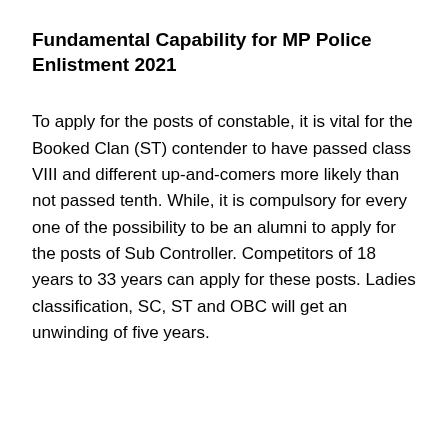Fundamental Capability for MP Police Enlistment 2021
To apply for the posts of constable, it is vital for the Booked Clan (ST) contender to have passed class VIII and different up-and-comers more likely than not passed tenth. While, it is compulsory for every one of the possibility to be an alumni to apply for the posts of Sub Controller. Competitors of 18 years to 33 years can apply for these posts. Ladies classification, SC, ST and OBC will get an unwinding of five years.